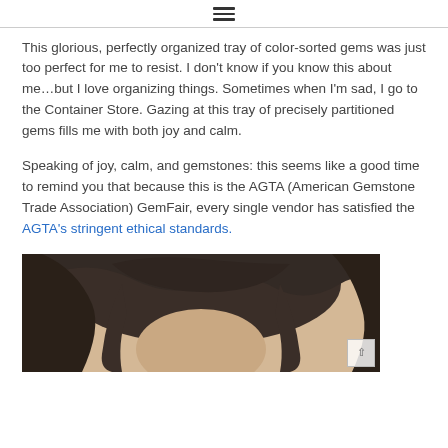☰
This glorious, perfectly organized tray of color-sorted gems was just too perfect for me to resist. I don't know if you know this about me...but I love organizing things. Sometimes when I'm sad, I go to the Container Store. Gazing at this tray of precisely partitioned gems fills me with both joy and calm.
Speaking of joy, calm, and gemstones: this seems like a good time to remind you that because this is the AGTA (American Gemstone Trade Association) GemFair, every single vendor has satisfied the AGTA's stringent ethical standards.
[Figure (photo): Partial view of a person's head/face with dark wavy hair, cropped at the bottom of the page.]